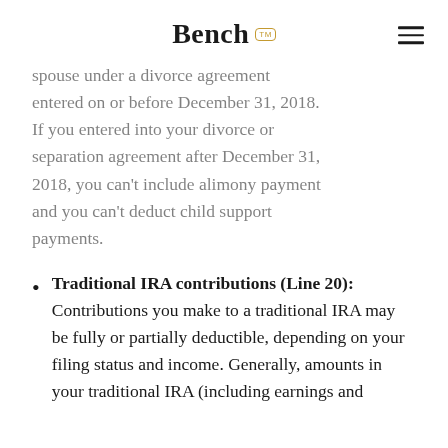Bench
spouse under a divorce agreement entered on or before December 31, 2018. If you entered into your divorce or separation agreement after December 31, 2018, you can't include alimony payment and you can't deduct child support payments.
Traditional IRA contributions (Line 20): Contributions you make to a traditional IRA may be fully or partially deductible, depending on your filing status and income. Generally, amounts in your traditional IRA (including earnings and